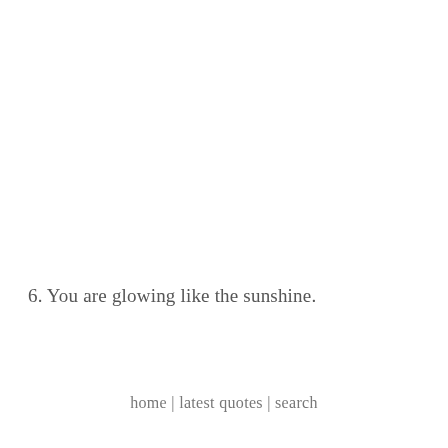6. You are glowing like the sunshine.
home | latest quotes | search